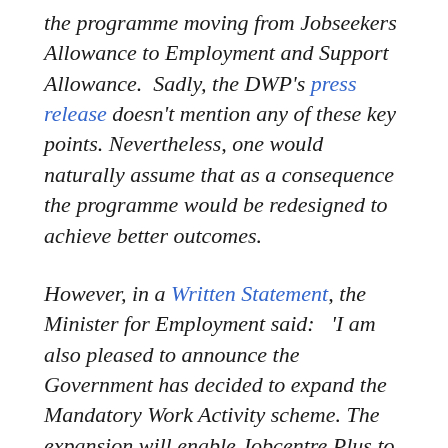the programme moving from Jobseekers Allowance to Employment and Support Allowance.  Sadly, the DWP's press release doesn't mention any of these key points. Nevertheless, one would naturally assume that as a consequence the programme would be redesigned to achieve better outcomes.
However, in a Written Statement, the Minister for Employment said:   'I am also pleased to announce the Government has decided to expand the Mandatory Work Activity scheme. The expansion will enable Jobcentre Plus to make between 60,000 and 70,000 referrals to Mandatory Work Activity each year, based on the current experience of the scheme, at a